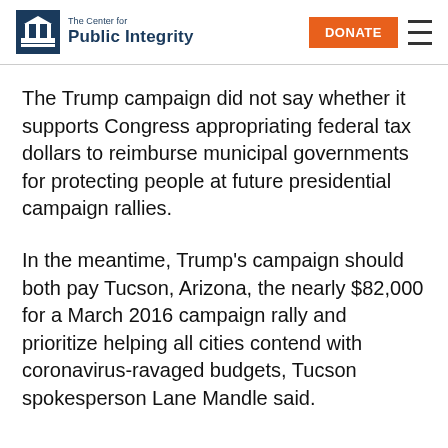The Center for Public Integrity | DONATE
The Trump campaign did not say whether it supports Congress appropriating federal tax dollars to reimburse municipal governments for protecting people at future presidential campaign rallies.
In the meantime, Trump's campaign should both pay Tucson, Arizona, the nearly $82,000 for a March 2016 campaign rally and prioritize helping all cities contend with coronavirus-ravaged budgets, Tucson spokesperson Lane Mandle said.